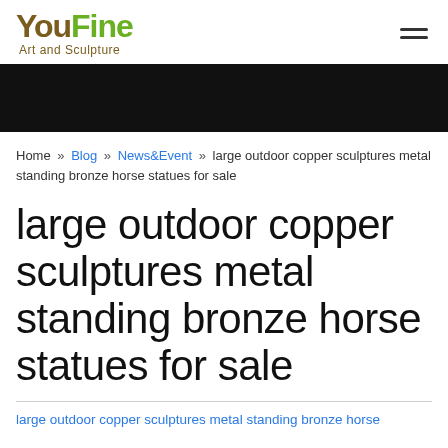YouFine Art and Sculpture
[Figure (other): Black decorative banner bar]
Home » Blog » News&Event » large outdoor copper sculptures metal standing bronze horse statues for sale
large outdoor copper sculptures metal standing bronze horse statues for sale
large outdoor copper sculptures metal standing bronze horse